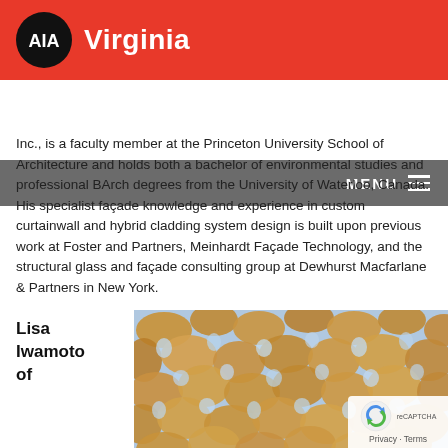AIA Virginia
Inc., is a faculty member at the Princeton University School of Architecture and holds both a bachelor of environmental studies and professional BArch degrees from the University of Waterloo, Canada. His specialist façade knowledge and experience in custom curtainwall and hybrid cladding system design is built upon previous work at Foster and Partners, Meinhardt Façade Technology, and the structural glass and façade consulting group at Dewhurst Macfarlane & Partners in New York.
Lisa Iwamoto of
[Figure (photo): Close-up photo of a parametric architectural facade panel made of curved wooden or clay tiles arranged in a repeating pattern of flower-like or petal shapes, with light coming through gaps.]